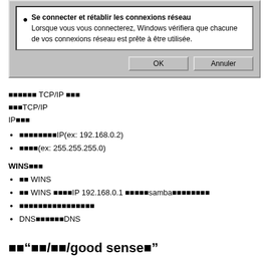[Figure (screenshot): Windows dialog box with radio button option 'Se connecter et rétablir les connexions réseau' and OK/Annuler buttons]
██████ TCP/IP ███
███TCP/IP
IP███
████████IP(ex: 192.168.0.2)
████(ex: 255.255.255.0)
WINS███
██ WINS
██ WINS ████IP 192.168.0.1 █████samba█████████
████████████████
DNS██████DNS
██"██/██/good sense█"